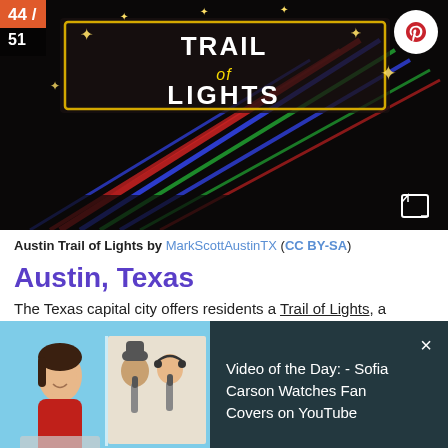[Figure (photo): Austin Trail of Lights illuminated sign at night with colorful lights (red, blue, green) against a dark background. Overlay shows '44 / 51' badge and a Pinterest button.]
Austin Trail of Lights by MarkScottAustinTX (CC BY-SA)
Austin, Texas
The Texas capital city offers residents a Trail of Lights, a
[Figure (screenshot): Video overlay popup: Video of the Day: - Sofia Carson Watches Fan Covers on YouTube. Shows a woman in red and two people singing into microphones on a light blue background, with dark overlay panel on right.]
p.m. along with a box of holiday cookies and an ATX Lights Savings Card.